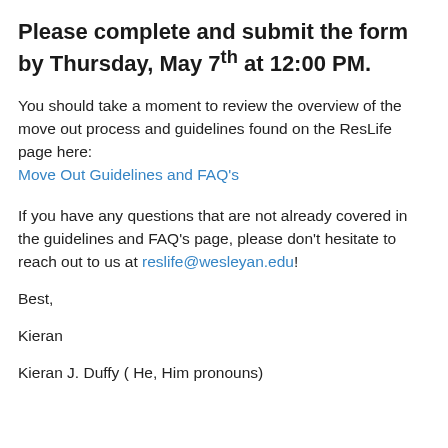Please complete and submit the form by Thursday, May 7th at 12:00 PM.
You should take a moment to review the overview of the move out process and guidelines found on the ResLife page here: Move Out Guidelines and FAQ's
If you have any questions that are not already covered in the guidelines and FAQ's page, please don't hesitate to reach out to us at reslife@wesleyan.edu!
Best,
Kieran
Kieran J. Duffy ( He, Him pronouns)